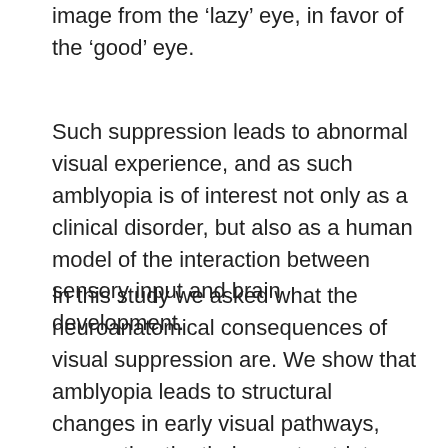image from the 'lazy' eye, in favor of the 'good' eye.
Such suppression leads to abnormal visual experience, and as such amblyopia is of interest not only as a clinical disorder, but also as a human model of the interaction between sensory input and brain development.
In this study we asked what the neuroanatomical consequences of visual suppression are. We show that amblyopia leads to structural changes in early visual pathways, connecting the thalamus to striate and extrastriate visual cortex. This is most likely due to changes in cortico-